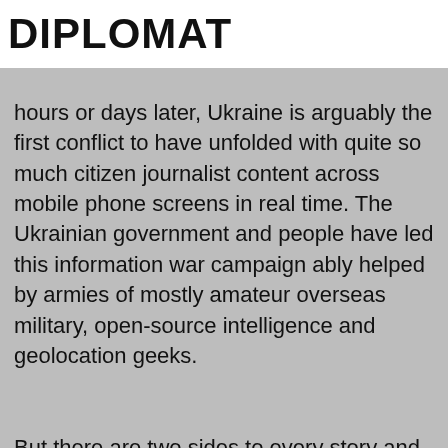DIPLOMAT
hours or days later, Ukraine is arguably the first conflict to have unfolded with quite so much citizen journalist content across mobile phone screens in real time. The Ukrainian government and people have led this information war campaign ably helped by armies of mostly amateur overseas military, open-source intelligence and geolocation geeks.
But there are two sides to every story and while Russia may not be winning the international information war in the West with its 'de-Nazification' claims - or allegations that the murder of civilians are staged or carried out by Ukrainians on their own people – it seems to be convincing a majority of its own population, and some parts of